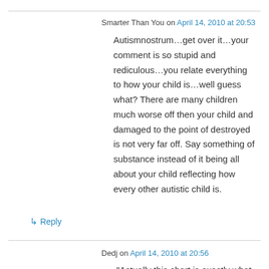Smarter Than You on April 14, 2010 at 20:53
Autismnostrum…get over it…your comment is so stupid and rediculous…you relate everything to how your child is…well guess what? There are many children much worse off then your child and damaged to the point of destroyed is not very far off. Say something of substance instead of it being all about your child reflecting how every other autistic child is.
↳ Reply
Dedj on April 14, 2010 at 20:56
“Actually this chart is exactly what would be